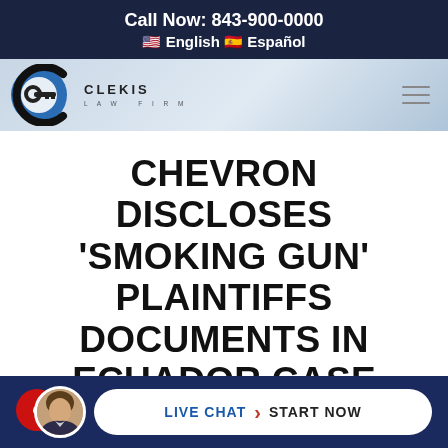Call Now: 843-900-0000 🇺🇸 English 🇪🇸 Español
[Figure (logo): Clekis Law Firm logo — circular C-shaped mark in blue and black with a key icon, beside firm name CLEKIS LAW FIRM in spaced letters]
CHEVRON DISCLOSES 'SMOKING GUN' PLAINTIFFS DOCUMENTS IN ECUADOR CASE
[Figure (photo): Circular headshot photo of a man in a suit, next to a red chat notification circle, with a Live Chat > Start Now button in a white pill shape on a dark blue bar]